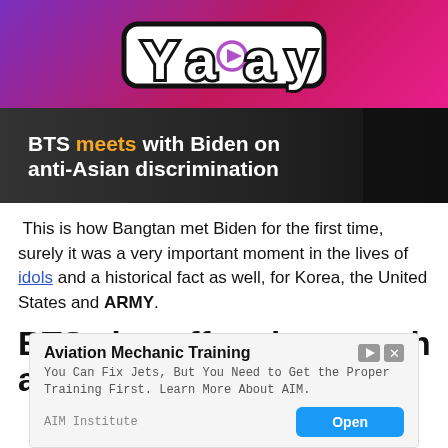Yaay
[Figure (screenshot): Thumbnail image showing BTS meets with Biden on anti-Asian discrimination headline over dark background]
This is how Bangtan met Biden for the first time, surely it was a very important moment in the lives of idols and a historical fact as well, for Korea, the United States and ARMY.
BTS also offered a speech at
[Figure (other): Advertisement banner for Aviation Mechanic Training by AIM Institute with Open button]